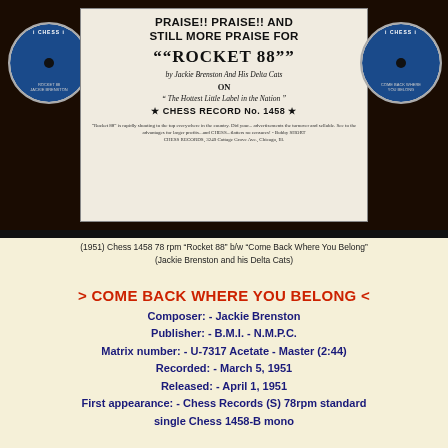[Figure (photo): Scan of a Chess Records advertisement for 'Rocket 88' by Jackie Brenston and his Delta Cats, showing two Chess Records 78rpm vinyl labels on either side of a promotional ad clipping. The ad reads: PRAISE!! PRAISE!! AND STILL MORE PRAISE FOR "ROCKET 88" by Jackie Brenston And His Delta Cats ON "The Hottest Little Label in the Nation" CHESS RECORD No. 1458]
(1951) Chess 1458 78 rpm "Rocket 88" b/w "Come Back Where You Belong"
(Jackie Brenston and his Delta Cats)
> COME BACK WHERE YOU BELONG <
Composer: - Jackie Brenston
Publisher: - B.M.I. - N.M.P.C.
Matrix number: - U-7317 Acetate - Master (2:44)
Recorded: - March 5, 1951
Released: - April 1, 1951
First appearance: - Chess Records (S) 78rpm standard single Chess 1458-B mono